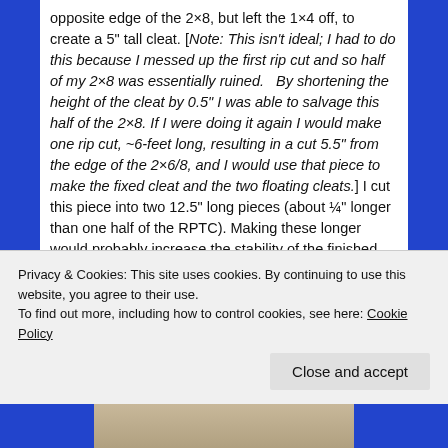opposite edge of the 2×8, but left the 1×4 off, to create a 5" tall cleat. [Note: This isn't ideal; I had to do this because I messed up the first rip cut and so half of my 2×8 was essentially ruined.   By shortening the height of the cleat by 0.5" I was able to salvage this half of the 2×8. If I were doing it again I would make one rip cut, ~6-feet long, resulting in a cut 5.5" from the edge of the 2×6/8, and I would use that piece to make the fixed cleat and the two floating cleats.] I cut this piece into two 12.5" long pieces (about ¼" longer than one half of the RPTC). Making these longer would probably increase the stability of the finished assembly, but it would require more mounting space as well.  The 12.5" length has worked fine for me, but I notice a bit of flex when I'm using the pinch grips.
Privacy & Cookies: This site uses cookies. By continuing to use this website, you agree to their use.
To find out more, including how to control cookies, see here: Cookie Policy